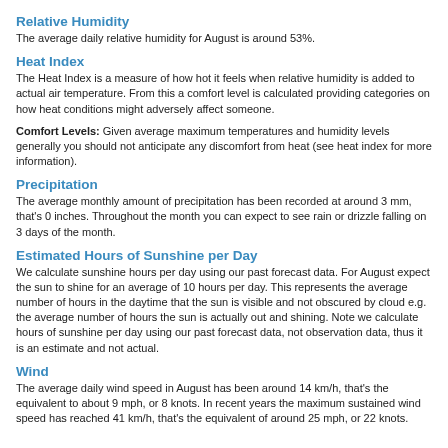Relative Humidity
The average daily relative humidity for August is around 53%.
Heat Index
The Heat Index is a measure of how hot it feels when relative humidity is added to actual air temperature. From this a comfort level is calculated providing categories on how heat conditions might adversely affect someone.
Comfort Levels: Given average maximum temperatures and humidity levels generally you should not anticipate any discomfort from heat (see heat index for more information).
Precipitation
The average monthly amount of precipitation has been recorded at around 3 mm, that's 0 inches. Throughout the month you can expect to see rain or drizzle falling on 3 days of the month.
Estimated Hours of Sunshine per Day
We calculate sunshine hours per day using our past forecast data. For August expect the sun to shine for an average of 10 hours per day. This represents the average number of hours in the daytime that the sun is visible and not obscured by cloud e.g. the average number of hours the sun is actually out and shining. Note we calculate hours of sunshine per day using our past forecast data, not observation data, thus it is an estimate and not actual.
Wind
The average daily wind speed in August has been around 14 km/h, that's the equivalent to about 9 mph, or 8 knots. In recent years the maximum sustained wind speed has reached 41 km/h, that's the equivalent of around 25 mph, or 22 knots.